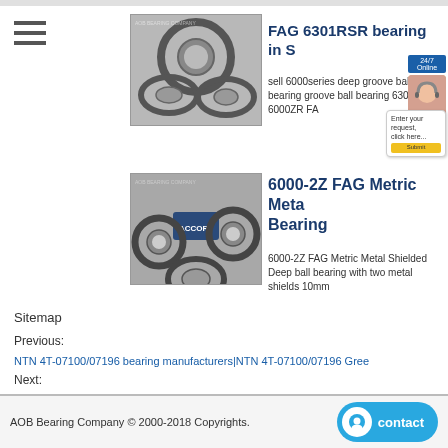[Figure (screenshot): Hamburger menu icon (three horizontal lines)]
[Figure (photo): Photo of FAG 6301RSR ball bearing components]
FAG 6301RSR bearing in S
sell 6000series deep groove ball bearing groove ball bearing 6300 FAG 6000ZR FA
[Figure (photo): Photo of 6000-2Z FAG Metric Metal Shielded Deep ball bearings]
6000-2Z FAG Metric Metal Bearing
6000-2Z FAG Metric Metal Shielded Deep ball bearing with two metal shields 10mm
Sitemap
Previous:
NTN 4T-07100/07196 bearing manufacturers|NTN 4T-07100/07196 Gree
Next:
SKF OKF 700 bearing wholesale|SKF OKF 700 taiwan
AOB Bearing Company © 2000-2018 Copyrights.